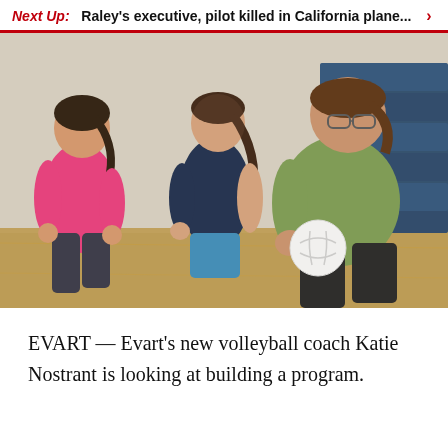Next Up: Raley's executive, pilot killed in California plane... >
[Figure (photo): Three women playing volleyball in a gymnasium. On the left is a woman in a pink shirt with dark hair in a ponytail. In the center is a woman in a dark blue tank top and blue shorts with her hair in a ponytail, smiling. On the right is a larger woman in a green sleeveless shirt and dark pants, wearing glasses, holding a white volleyball. Blue gym mats are visible on the wall in the background.]
EVART — Evart's new volleyball coach Katie Nostrant is looking at building a program.